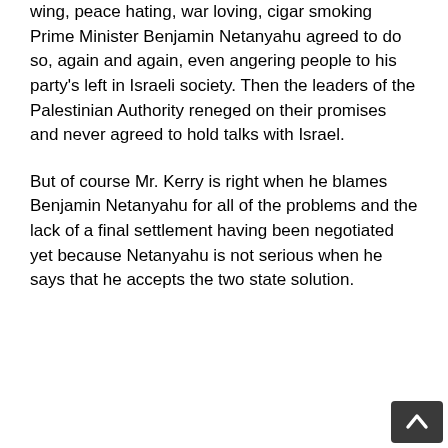wing, peace hating, war loving, cigar smoking Prime Minister Benjamin Netanyahu agreed to do so, again and again, even angering people to his party's left in Israeli society. Then the leaders of the Palestinian Authority reneged on their promises and never agreed to hold talks with Israel.
But of course Mr. Kerry is right when he blames Benjamin Netanyahu for all of the problems and the lack of a final settlement having been negotiated yet because Netanyahu is not serious when he says that he accepts the two state solution.